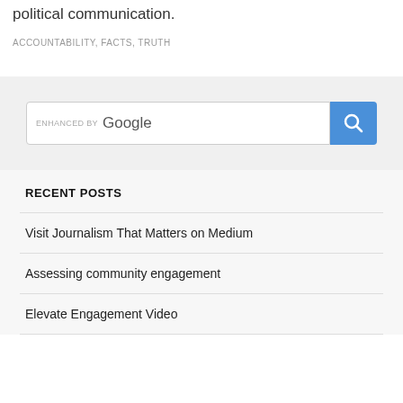political communication.
ACCOUNTABILITY, FACTS, TRUTH
[Figure (screenshot): Google custom search bar with blue search button]
RECENT POSTS
Visit Journalism That Matters on Medium
Assessing community engagement
Elevate Engagement Video